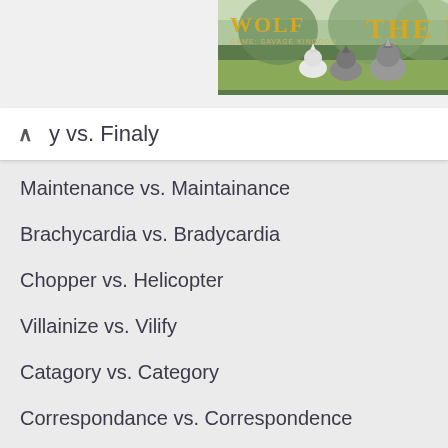[Figure (photo): Banner advertisement showing wolves in a field with gold text reading 'WOLF' and 'THE H' partially visible]
y vs. Finaly
Maintenance vs. Maintainance
Brachycardia vs. Bradycardia
Chopper vs. Helicopter
Villainize vs. Vilify
Catagory vs. Category
Correspondance vs. Correspondence
Incentivise vs. Incentivize
Turnip vs. Radish